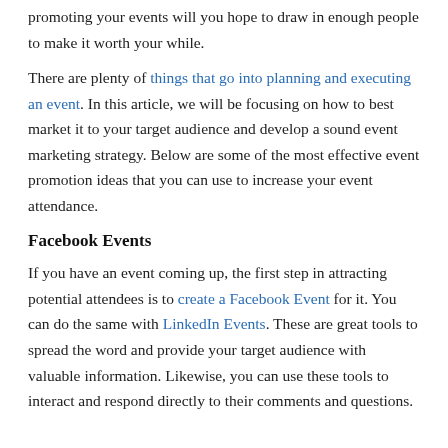promoting your events will you hope to draw in enough people to make it worth your while.
There are plenty of things that go into planning and executing an event. In this article, we will be focusing on how to best market it to your target audience and develop a sound event marketing strategy. Below are some of the most effective event promotion ideas that you can use to increase your event attendance.
Facebook Events
If you have an event coming up, the first step in attracting potential attendees is to create a Facebook Event for it. You can do the same with LinkedIn Events. These are great tools to spread the word and provide your target audience with valuable information. Likewise, you can use these tools to interact and respond directly to their comments and questions.